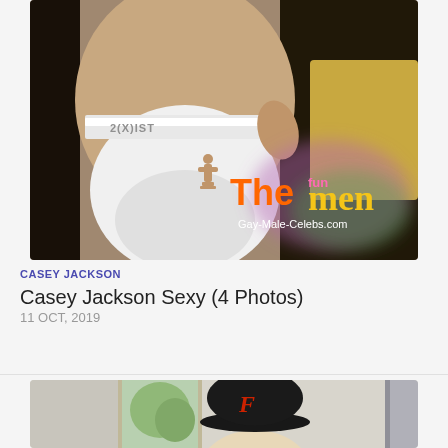[Figure (photo): Photo of person wearing white 2(X)IST underwear, with The Men / Gay-Male-Celebs.com logo overlay in bottom right corner]
CASEY JACKSON
Casey Jackson Sexy (4 Photos)
11 OCT, 2019
[Figure (photo): Partial photo of person wearing black cap with red letter F, standing in front of window with trees visible outside]